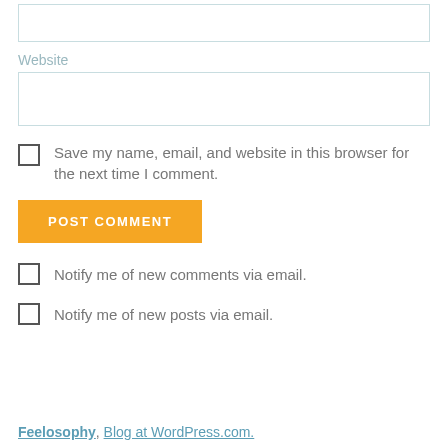Website
Save my name, email, and website in this browser for the next time I comment.
POST COMMENT
Notify me of new comments via email.
Notify me of new posts via email.
Feelosophy. Blog at WordPress.com.